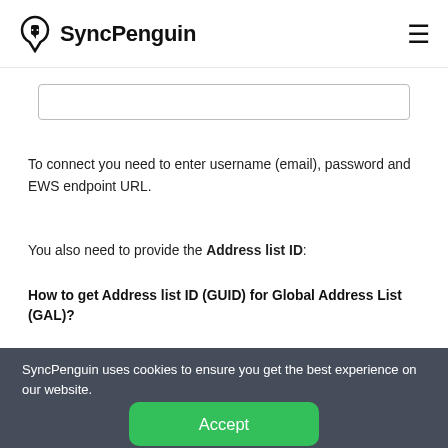SyncPenguin
[Figure (other): Empty input text field with border]
To connect you need to enter username (email), password and EWS endpoint URL.
You also need to provide the Address list ID:
How to get Address list ID (GUID) for Global Address List (GAL)?
SyncPenguin uses cookies to ensure you get the best experience on our website.
Accept